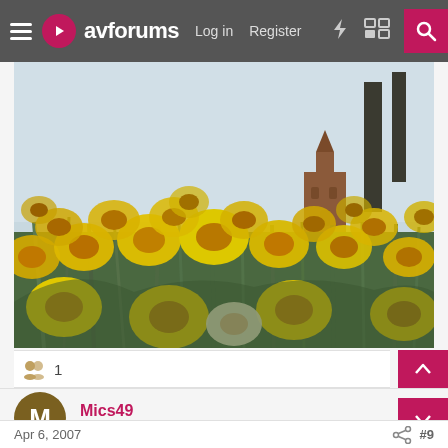avforums — Log in  Register
[Figure (photo): Field of yellow daffodil flowers in bloom with green stems and leaves. In the background, a red-brick church tower with a spire is visible, along with tall trees against an overcast pale sky.]
1
Mics49
Active Member
Apr 6, 2007    #9